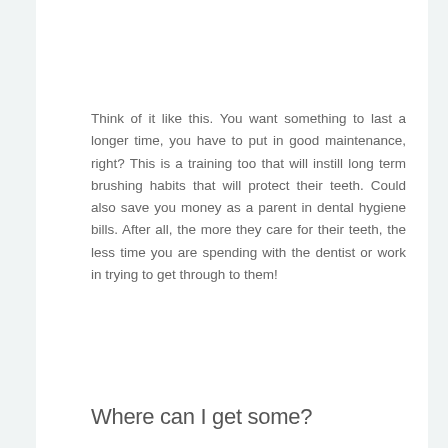Think of it like this. You want something to last a longer time, you have to put in good maintenance, right? This is a training too that will instill long term brushing habits that will protect their teeth. Could also save you money as a parent in dental hygiene bills. After all, the more they care for their teeth, the less time you are spending with the dentist or work in trying to get through to them!
Where can I get some?